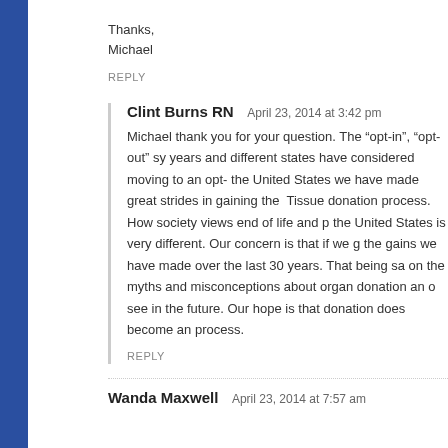Thanks,
Michael
REPLY
Clint Burns RN   April 23, 2014 at 3:42 pm
Michael thank you for your question. The “opt-in”, “opt-out” sy years and different states have considered moving to an opt- the United States we have made great strides in gaining the Tissue donation process. How society views end of life and p the United States is very different. Our concern is that if we g the gains we have made over the last 30 years. That being sa on the myths and misconceptions about organ donation an o see in the future. Our hope is that donation does become an process.
REPLY
Wanda Maxwell   April 23, 2014 at 7:57 am